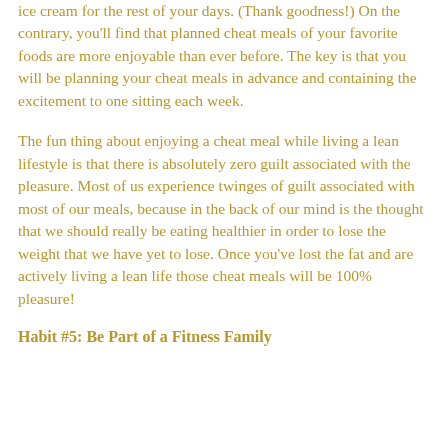ice cream for the rest of your days. (Thank goodness!) On the contrary, you'll find that planned cheat meals of your favorite foods are more enjoyable than ever before. The key is that you will be planning your cheat meals in advance and containing the excitement to one sitting each week.
The fun thing about enjoying a cheat meal while living a lean lifestyle is that there is absolutely zero guilt associated with the pleasure. Most of us experience twinges of guilt associated with most of our meals, because in the back of our mind is the thought that we should really be eating healthier in order to lose the weight that we have yet to lose. Once you've lost the fat and are actively living a lean life those cheat meals will be 100% pleasure!
Habit #5: Be Part of a Fitness Family